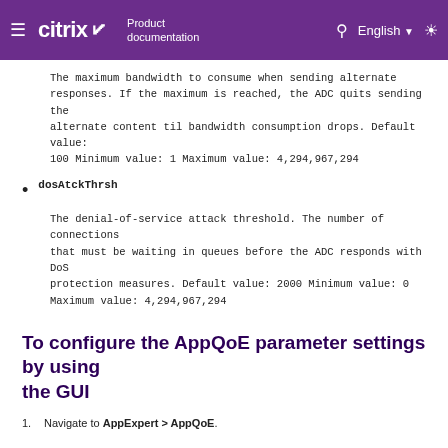≡ citrix Product documentation | English | Search | Settings
The maximum bandwidth to consume when sending alternate responses. If the maximum is reached, the ADC quits sending the alternate content til bandwidth consumption drops. Default value: 100 Minimum value: 1 Maximum value: 4,294,967,294
dosAtckThrsh
The denial-of-service attack threshold. The number of connections that must be waiting in queues before the ADC responds with DoS protection measures. Default value: 2000 Minimum value: 0 Maximum value: 4,294,967,294
To configure the AppQoE parameter settings by using the GUI
Navigate to AppExpert > AppQoE.